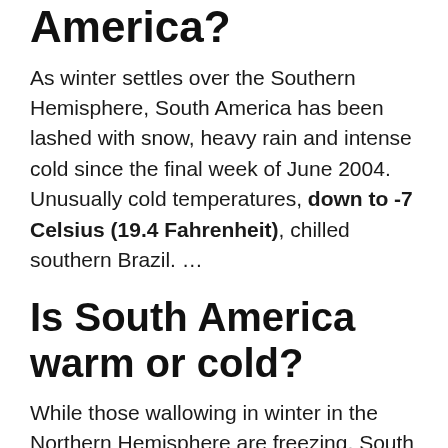America?
As winter settles over the Southern Hemisphere, South America has been lashed with snow, heavy rain and intense cold since the final week of June 2004. Unusually cold temperatures, down to -7 Celsius (19.4 Fahrenheit), chilled southern Brazil. …
Is South America warm or cold?
While those wallowing in winter in the Northern Hemisphere are freezing, South Americans at or below the equator are enjoying warm weather conditions. Ecuador, while partially in the Northern Hemisphere, straddles the equator, giving